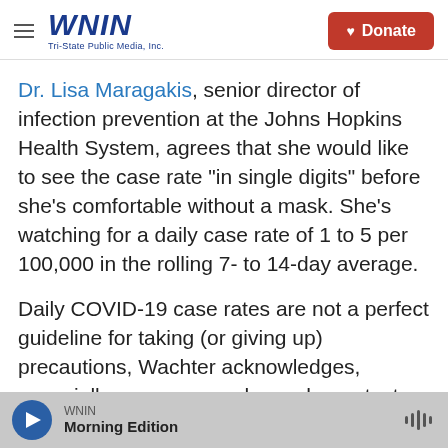WNIN Tri-State Public Media, Inc. | Donate
Dr. Lisa Maragakis, senior director of infection prevention at the Johns Hopkins Health System, agrees that she would like to see the case rate "in single digits" before she's comfortable without a mask. She's watching for a daily case rate of 1 to 5 per 100,000 in the rolling 7- to 14-day average.
Daily COVID-19 case rates are not a perfect guideline for taking (or giving up) precautions, Wachter acknowledges, especially as more people use home tests that don't get reported in the national numbers. Still, he says, decreased levels of
WNIN Morning Edition